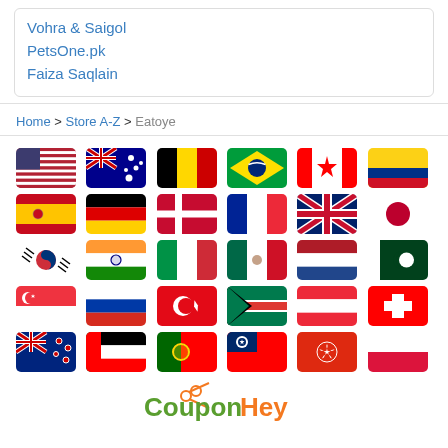Vohra & Saigol
PetsOne.pk
Faiza Saqlain
Home > Store A-Z > Eatoye
[Figure (illustration): Grid of 30 country flag icons arranged in 5 rows of 6 flags each, representing countries including USA, Australia, Belgium, Brazil, Canada, Colombia, Spain, Germany, Denmark, France, UK, Japan, South Korea, India, Italy, Mexico, Netherlands, Pakistan, Singapore, Russia, Turkey, South Africa, Austria, Switzerland, New Zealand, UAE, Portugal, Taiwan, Hong Kong, and one more.]
[Figure (logo): CouponHey logo with coupon text in green and Hey in orange with a scissors icon]